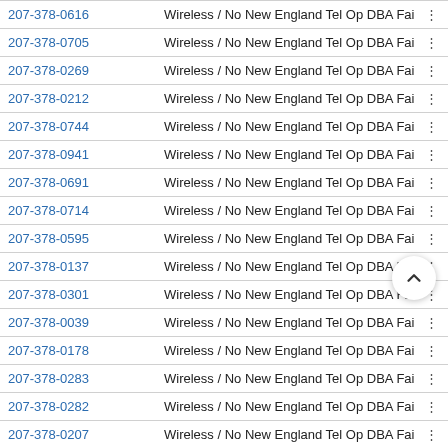| Phone | Type / Wireless / Carrier |  |
| --- | --- | --- |
| 207-378-0616 | Wireless / No New England Tel Op DBA Fairpoint Comm | ⋮ |
| 207-378-0705 | Wireless / No New England Tel Op DBA Fairpoint Comm | ⋮ |
| 207-378-0269 | Wireless / No New England Tel Op DBA Fairpoint Comm | ⋮ |
| 207-378-0212 | Wireless / No New England Tel Op DBA Fairpoint Comm | ⋮ |
| 207-378-0744 | Wireless / No New England Tel Op DBA Fairpoint Comm | ⋮ |
| 207-378-0941 | Wireless / No New England Tel Op DBA Fairpoint Comm | ⋮ |
| 207-378-0691 | Wireless / No New England Tel Op DBA Fairpoint Comm | ⋮ |
| 207-378-0714 | Wireless / No New England Tel Op DBA Fairpoint Comm | ⋮ |
| 207-378-0595 | Wireless / No New England Tel Op DBA Fairpoint Comm | ⋮ |
| 207-378-0137 | Wireless / No New England Tel Op DBA Fairpoint Comm | ⋮ |
| 207-378-0301 | Wireless / No New England Tel Op DBA Fairpoint Comm | ⋮ |
| 207-378-0039 | Wireless / No New England Tel Op DBA Fairpoint Comm | ⋮ |
| 207-378-0178 | Wireless / No New England Tel Op DBA Fairpoint Comm | ⋮ |
| 207-378-0283 | Wireless / No New England Tel Op DBA Fairpoint Comm | ⋮ |
| 207-378-0282 | Wireless / No New England Tel Op DBA Fairpoint Comm | ⋮ |
| 207-378-0207 | Wireless / No New England Tel Op DBA Fairpoint Com | ⋮ |
| 207-378-0231 | Wireless / No New England Tel Op DBA Fairpoint Comm | ⋮ |
| 207-378-0700 | Wireless / No New England Tel Op DBA Fairpoint Comm | ⋮ |